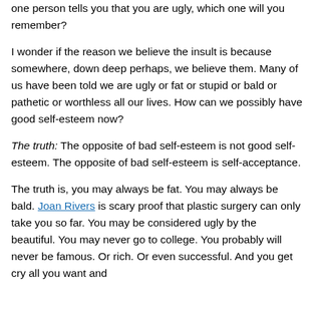one person tells you that you are ugly, which one will you remember?
I wonder if the reason we believe the insult is because somewhere, down deep perhaps, we believe them. Many of us have been told we are ugly or fat or stupid or bald or pathetic or worthless all our lives. How can we possibly have good self-esteem now?
The truth: The opposite of bad self-esteem is not good self-esteem. The opposite of bad self-esteem is self-acceptance.
The truth is, you may always be fat. You may always be bald. Joan Rivers is scary proof that plastic surgery can only take you so far. You may be considered ugly by the beautiful. You may never go to college. You probably will never be famous. Or rich. Or even successful. And you get cry all you want and